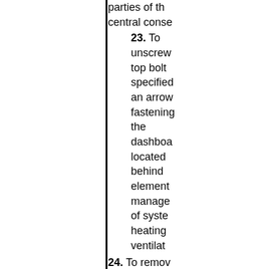parties of the central conse
23. To unscrew top bolt specified an arrow fastening the dashboard located behind element manage of system heating ventilat
24. To remove strengthening which is bet the dashboard and the hold elements of mechanism of gear shifting